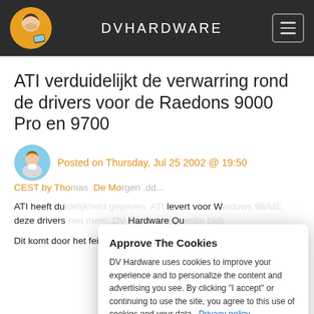DVHARDWARE
ATI verduidelijkt de verwarring rond de drivers voor de Raedons 9000 Pro en 9700
Posted on Thursday, Jul 25 2002 @ 19:50
CEST by Tho... De Mo... .dd...
ATI heeft du... levert voor W... deze drivers ... Hardware Qu...
Dit komt door het feit dat deze sinds 1 juli geen
Approve The Cookies
DV Hardware uses cookies to improve your experience and to personalize the content and advertising you see. By clicking "I accept" or continuing to use the site, you agree to this use of cookies and your data. Privacy policy.
I accept